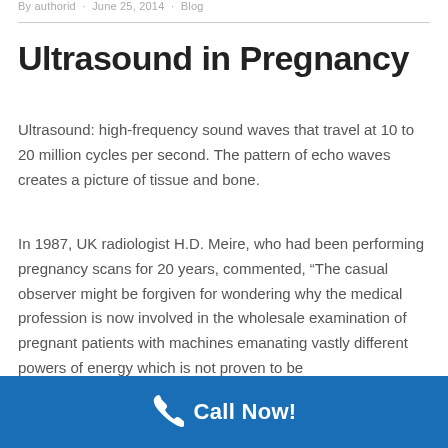By authorid · June 25, 2014 · Blog
Ultrasound in Pregnancy
Ultrasound: high-frequency sound waves that travel at 10 to 20 million cycles per second. The pattern of echo waves creates a picture of tissue and bone.
In 1987, UK radiologist H.D. Meire, who had been performing pregnancy scans for 20 years, commented, “The casual observer might be forgiven for wondering why the medical profession is now involved in the wholesale examination of pregnant patients with machines emanating vastly different powers of energy which is not proven to be
Call Now!